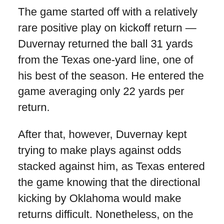The game started off with a relatively rare positive play on kickoff return — Duvernay returned the ball 31 yards from the Texas one-yard line, one of his best of the season. He entered the game averaging only 22 yards per return.
After that, however, Duvernay kept trying to make plays against odds stacked against him, as Texas entered the game knowing that the directional kicking by Oklahoma would make returns difficult. Nonetheless, on the next three kickoffs, Duvernay eschewed fair catches and only gained 46 yards total, a loss of 27 yards of total field position. On one of those kickoffs, Duvernay nearly stepped out of bounds fielding the ball, a decision that might have cost Texas even more yardage and almost resulted in a disaster